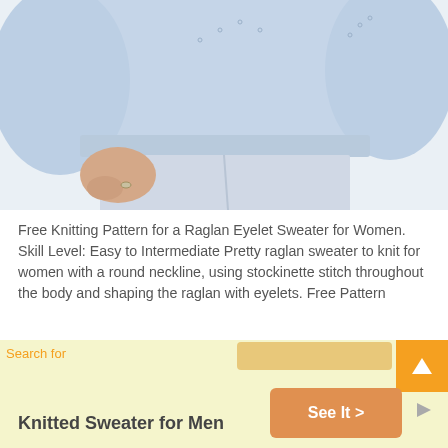[Figure (photo): Photo of a woman wearing a light blue/grey raglan eyelet knit sweater with white/light jeans, cropped to show torso and one hand]
Free Knitting Pattern for a Raglan Eyelet Sweater for Women. Skill Level: Easy to Intermediate Pretty raglan sweater to knit for women with a round neckline, using stockinette stitch throughout the body and shaping the raglan with eyelets. Free Pattern
Read More...
Search for
Knitted Sweater for Men
See It >